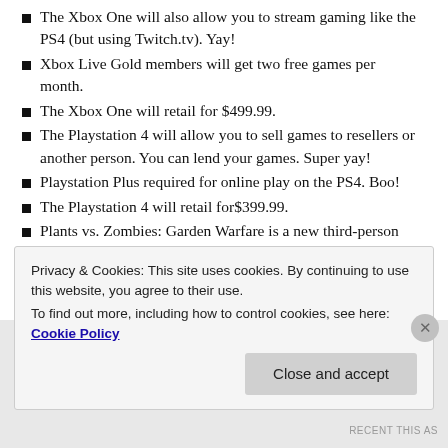The Xbox One will also allow you to stream gaming like the PS4 (but using Twitch.tv). Yay!
Xbox Live Gold members will get two free games per month.
The Xbox One will retail for $499.99.
The Playstation 4 will allow you to sell games to resellers or another person. You can lend your games. Super yay!
Playstation Plus required for online play on the PS4. Boo!
The Playstation 4 will retail for$399.99.
Plants vs. Zombies: Garden Warfare is a new third-person shooter in the PvZ universe. The trailer made fun of Modern Warfare and similar games. Yay!
Privacy & Cookies: This site uses cookies. By continuing to use this website, you agree to their use.
To find out more, including how to control cookies, see here: Cookie Policy
RECENT THIS AS